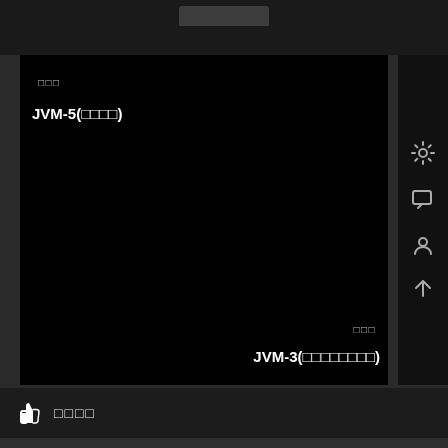[Figure (screenshot): Dark-themed video player UI with two video tiles on black background. Top-left tile shows label text and 'JVM-5(□□□□)'. Bottom-right tile shows label text and 'JVM-3(□□□□□□□□)'. Right sidebar has settings, chat, and scroll icons. Bottom bar has thumbs-up icon and label text.]
□□□
JVM-5(□□□□)
□□□
JVM-3(□□□□□□□□)
□□□□